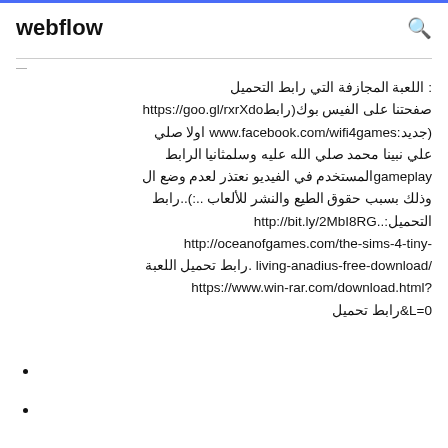webflow
: اللعبة المجازفة التي رابط التحميل
صفحتنا على الفيس بوك(رابطhttps://goo.gl/rxrXdo
(جديد:www.facebook.com/wifi4games اولا صلي
علي نبينا محمد صلي الله عليه وسلمثانيا الرابطgameplay المستخدم في الفيديو نعتذر لعدم وضع ال
وذلك بسبب حقوق الطيع والنشر للألعاب :..)..رابط
التحميل:http://bit.ly/2MbI8RG..
http://oceanofgames.com/the-sims-4-tiny-living-anadius-free-download/ .رابط تحميل اللعبة
https://www.win-rar.com/download.html?&L=0 رابط تحميل